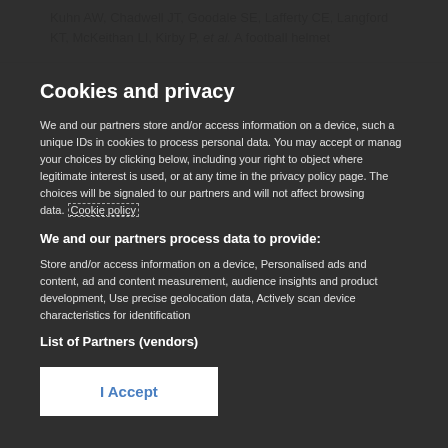Kuhn AW, Chadwell JT, Goodale SE, Lafferty CE, Langford KT, McKeithan LI, Kirby P, et al. A football helmet
Cookies and privacy
We and our partners store and/or access information on a device, such as unique IDs in cookies to process personal data. You may accept or manage your choices by clicking below, including your right to object where legitimate interest is used, or at any time in the privacy policy page. These choices will be signaled to our partners and will not affect browsing data. Cookie policy
We and our partners process data to provide:
Store and/or access information on a device, Personalised ads and content, ad and content measurement, audience insights and product development, Use precise geolocation data, Actively scan device characteristics for identification
List of Partners (vendors)
I Accept